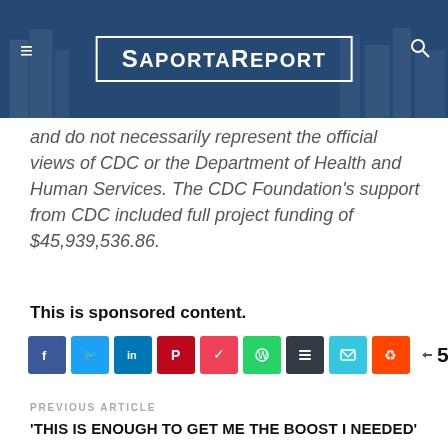SaportaReport
and do not necessarily represent the official views of CDC or the Department of Health and Human Services. The CDC Foundation's support from CDC included full project funding of $45,939,536.86.
This is sponsored content.
[Figure (other): Social share buttons row: Facebook, Twitter, LinkedIn, Pinterest, Pocket, WhatsApp, Buffer, Email, Reddit, and share count showing 5 SHARES]
PREVIOUS ARTICLE
'THIS IS ENOUGH TO GET ME THE BOOST I NEEDED'